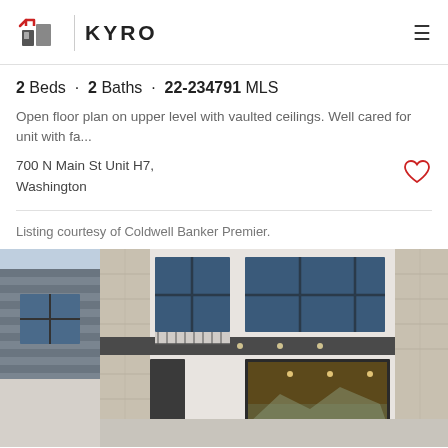JOHN HOOK TEAM | KYRO
2 Beds · 2 Baths · 22-234791 MLS
Open floor plan on upper level with vaulted ceilings. Well cared for unit with fa...
700 N Main St Unit H7,
Washington
Listing courtesy of Coldwell Banker Premier.
[Figure (photo): Exterior photo of a modern two-story residential property with stone and stucco facade, large windows, balcony with metal railing, recessed lighting, and an open garage area revealing interior with pendant lights and mountain view in background.]